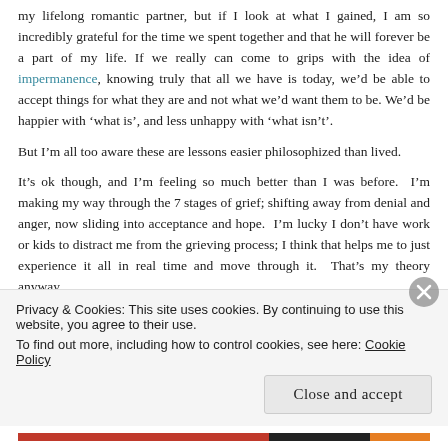my lifelong romantic partner, but if I look at what I gained, I am so incredibly grateful for the time we spent together and that he will forever be a part of my life. If we really can come to grips with the idea of impermanence, knowing truly that all we have is today, we'd be able to accept things for what they are and not what we'd want them to be. We'd be happier with 'what is', and less unhappy with 'what isn't'.
But I'm all too aware these are lessons easier philosophized than lived.
It's ok though, and I'm feeling so much better than I was before. I'm making my way through the 7 stages of grief; shifting away from denial and anger, now sliding into acceptance and hope. I'm lucky I don't have work or kids to distract me from the grieving process; I think that helps me to just experience it all in real time and move through it. That's my theory anyway.
I've moved guesthouses 4 times, finally breaking down and getting a
Privacy & Cookies: This site uses cookies. By continuing to use this website, you agree to their use.
To find out more, including how to control cookies, see here: Cookie Policy